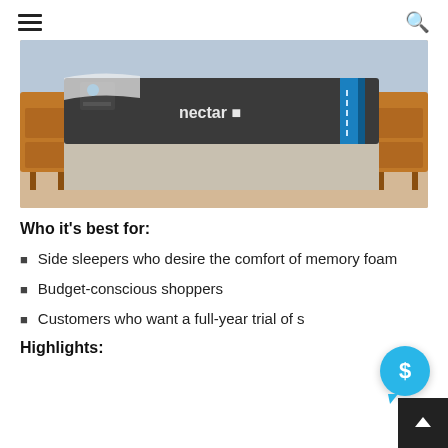navigation header with hamburger menu and search icon
[Figure (photo): A Nectar mattress displayed on a bed frame with grey upholstery and black legs, positioned in a bedroom with wooden side tables and light wood flooring. The mattress has a dark grey cover with a blue stripe on the right side and the Nectar logo visible.]
Who it’s best for:
Side sleepers who desire the comfort of memory foam
Budget-conscious shoppers
Customers who want a full-year trial of s
Highlights: